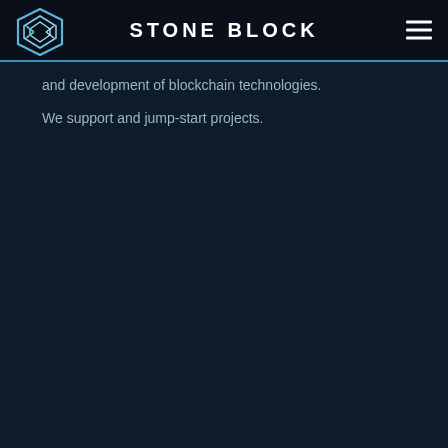STONE BLOCK
[Figure (logo): Stone Block geometric logo, hexagonal shape with layered diamond lines in blue and white gradient]
and development of blockchain technologies. We support and jump-start projects.